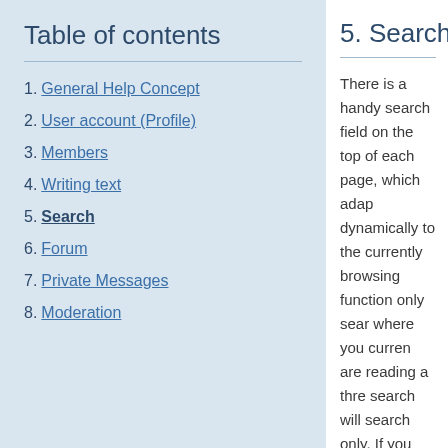Table of contents
1. General Help Concept
2. User account (Profile)
3. Members
4. Writing text
5. Search
6. Forum
7. Private Messages
8. Moderation
5. Search
There is a handy search field on the top of each page, which adap dynamically to the currently browsing function only sear where you curren are reading a thre search will search only. If you want t forum you will hav the start page. Th holds a dropdown frequently used se well as a link to th